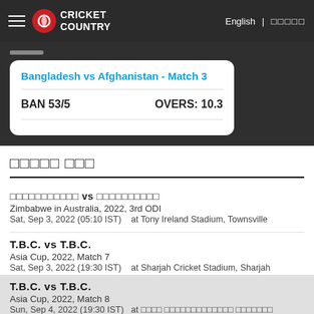Cricket Country | English |
Bangladesh vs Afghanistan - Match 3 | BAN 53/5 | OVERS: 10.3
□□□□□ □□□
□□□□□□□□□□□ vs □□□□□□□□□□ | Zimbabwe in Australia, 2022, 3rd ODI | Sat, Sep 3, 2022 (05:10 IST)   at Tony Ireland Stadium, Townsville
T.B.C. vs T.B.C. | Asia Cup, 2022, Match 7 | Sat, Sep 3, 2022 (19:30 IST)   at Sharjah Cricket Stadium, Sharjah
T.B.C. vs T.B.C. | Asia Cup, 2022, Match 8 | Sun, Sep 4, 2022 (19:30 IST)   at □□□□ □□□□□□□□□□□□□ □□□□□□□